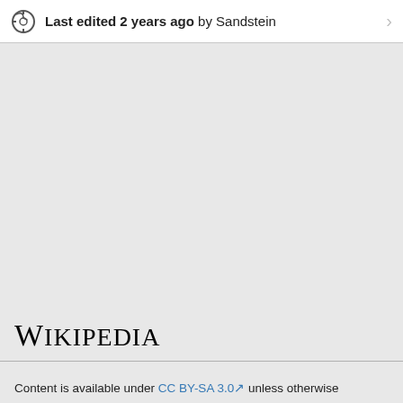Last edited 2 years ago by Sandstein
[Figure (other): Large empty gray area representing content region]
Wikipedia
Content is available under CC BY-SA 3.0 unless otherwise